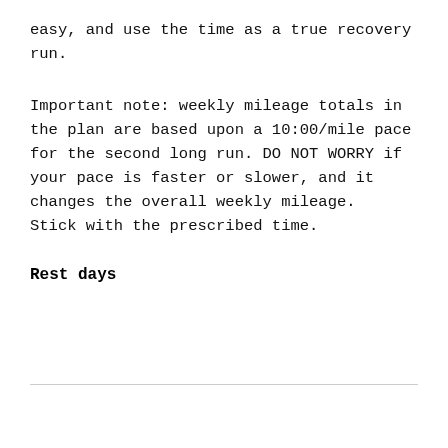easy, and use the time as a true recovery run.
Important note: weekly mileage totals in the plan are based upon a 10:00/mile pace for the second long run. DO NOT WORRY if your pace is faster or slower, and it changes the overall weekly mileage.  Stick with the prescribed time.
Rest days